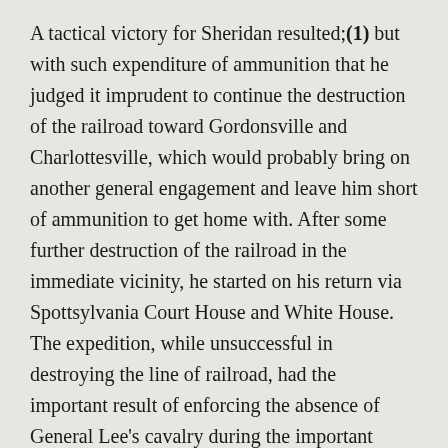A tactical victory for Sheridan resulted;(1) but with such expenditure of ammunition that he judged it imprudent to continue the destruction of the railroad toward Gordonsville and Charlottesville, which would probably bring on another general engagement and leave him short of ammunition to get home with. After some further destruction of the railroad in the immediate vicinity, he started on his return via Spottsylvania Court House and White House. The expedition, while unsuccessful in destroying the line of railroad, had the important result of enforcing the absence of General Lee's cavalry during the important movements of which this paper treats.
To return to the movements of the main armies: —
On the night of June 5, the Fifth Corps was withdrawn from the lines at Cold Harbor, and took position in